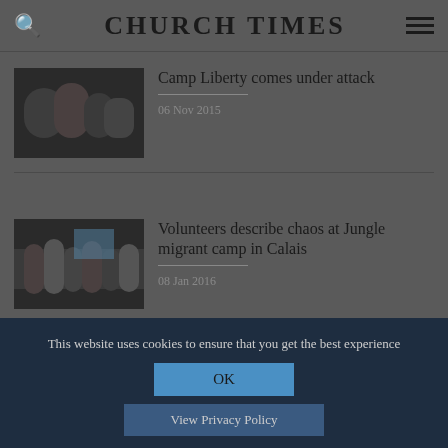CHURCH TIMES
Camp Liberty comes under attack
06 Nov 2015
Volunteers describe chaos at Jungle migrant camp in Calais
08 Jan 2016
This website uses cookies to ensure that you get the best experience